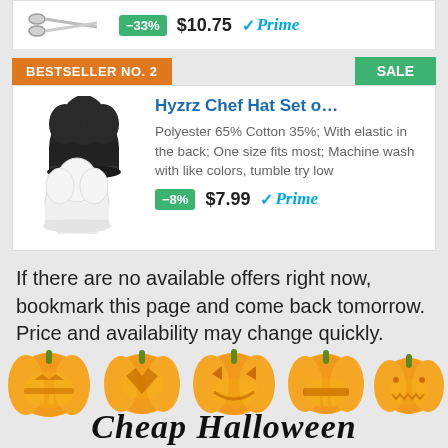[Figure (photo): Partial product listing showing scissors image with -33% discount badge, $10.75 price, and Prime logo]
BESTSELLER NO. 2
SALE
[Figure (photo): Two chef hats (black and white) product image]
Hyzrz Chef Hat Set o...
Polyester 65% Cotton 35%; With elastic in the back; One size fits most; Machine wash with like colors, tumble try low
-8% $7.99 Prime
If there are no available offers right now, bookmark this page and come back tomorrow. Price and availability may change quickly.
[Figure (illustration): Row of jack-o-lantern pumpkins with carved faces for Halloween decoration]
Cheap Halloween